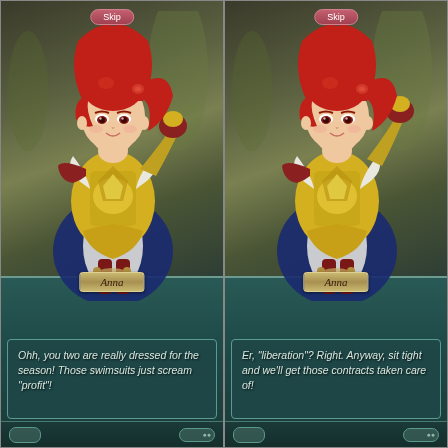[Figure (screenshot): Left panel: Fire Emblem Heroes mobile game screenshot showing character Anna with red twin-tail hair wearing gold armor and blue cape, with 'Skip' button at top, name banner at bottom, and dialog box reading: Ohh, you two are really dressed for the season! Those swimsuits just scream 'profit'!]
[Figure (screenshot): Right panel: Fire Emblem Heroes mobile game screenshot showing the same character Anna with red twin-tail hair wearing gold armor and blue cape, with 'Skip' button at top, name banner at bottom, and dialog box reading: Er, 'liberation'? Right. Anyway, sit tight and we'll get those contracts taken care of!]